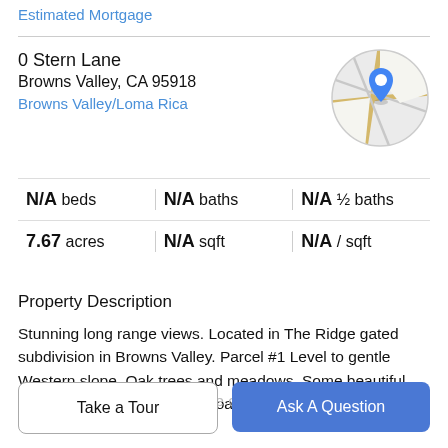Estimated Mortgage
0 Stern Lane
Browns Valley, CA 95918
Browns Valley/Loma Rica
[Figure (map): Circular map thumbnail showing street map with a blue location pin marker in the center, over Browns Valley area.]
| Beds | Baths | Half Baths |
| --- | --- | --- |
| N/A beds | N/A baths | N/A ½ baths |
| 7.67 acres | N/A sqft | N/A / sqft |
Property Description
Stunning long range views. Located in The Ridge gated subdivision in Browns Valley. Parcel #1 Level to gentle Western slope. Oak trees and meadows. Some beautiful rock out cropping's. Paved Road access. Upscale
neighborhood with visible pride of ownership in
Take a Tour
Ask A Question